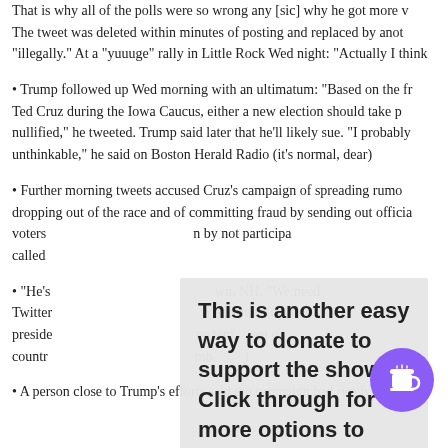That is why all of the polls were so wrong any [sic] why he got more v…
The tweet was deleted within minutes of posting and replaced by ano…
"illegally." At a "yuuuge" rally in Little Rock Wed night: "Actually I think…
• Trump followed up Wed morning with an ultimatum: "Based on the fr… Ted Cruz during the Iowa Caucus, either a new election should take p… nullified," he tweeted. Trump said later that he'll likely sue. "I probably… unthinkable," he said on Boston Herald Radio (it's normal, dear)
• Further morning tweets accused Cruz's campaign of spreading rumo… dropping out of the race and of committing fraud by sending out officia… voters … n by not participa… called …
• "He's … wn, NH. "We need … Twitter … o one morning and… preside … ne tem… ent o… countr… mb … )
[Figure (infographic): Donation overlay popup: 'This is another easy way to donate to support the show! Click through for more options to make monthly donations.' with a purple coffee cup button icon.]
• A person close to Trump's efforts said the campaign had received re…